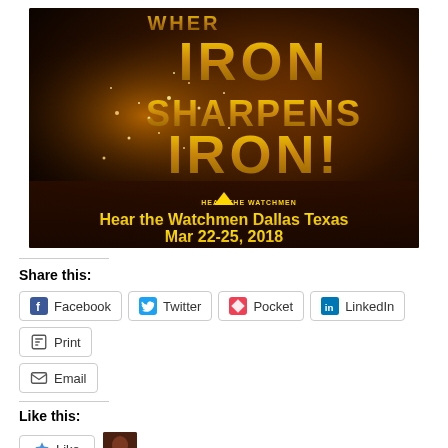[Figure (illustration): Dark promotional image with sparks flying from grinding metal. Large golden text reads 'WHERE IRON SHARPENS IRON' with a pyramid icon and 'HEAR THE WATCHMEN' logo underneath. Yellow text at bottom reads 'Hear the Watchmen Dallas Texas Mar 22-25, 2018'.]
Share this:
Facebook
Twitter
Pocket
LinkedIn
Print
Email
Like this:
Like